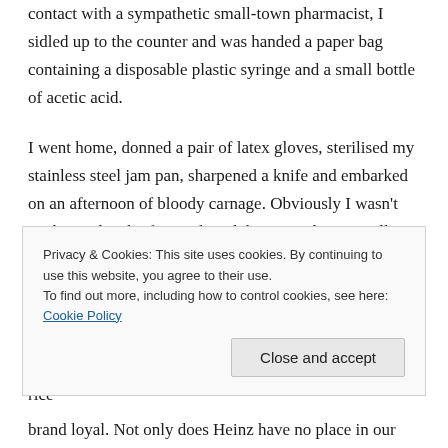contact with a sympathetic small-town pharmacist, I sidled up to the counter and was handed a paper bag containing a disposable plastic syringe and a small bottle of acetic acid.
I went home, donned a pair of latex gloves, sterilised my stainless steel jam pan, sharpened a knife and embarked on an afternoon of bloody carnage. Obviously I wasn't cooking a batch of crystal meth but something equally addictive: homemade Wattie's Tomato Sauce.
In our house, nothing is safe from it. Not a sausage (especially a sausage). Not steak and chips. Not mince on toast. Not bacon and eggs. Not mashed potato nor fried rice
Privacy & Cookies: This site uses cookies. By continuing to use this website, you agree to their use.
To find out more, including how to control cookies, see here: Cookie Policy
Close and accept
brand loyal. Not only does Heinz have no place in our